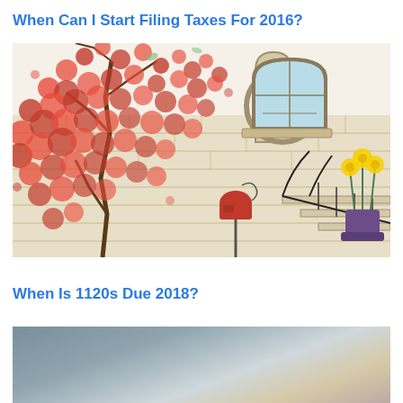When Can I Start Filing Taxes For 2016?
[Figure (illustration): Watercolor illustration of a house exterior with a red flowering tree on the left, an arched stone window, iron railing staircase, a red mailbox, and a potted yellow flower on the right.]
When Is 1120s Due 2018?
[Figure (photo): Partially visible blurred photograph with grey and beige tones, bottom portion of image cut off.]